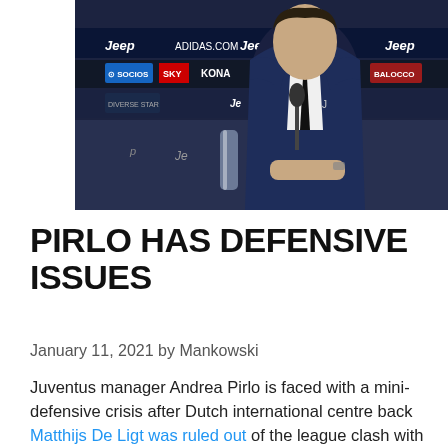[Figure (photo): A man in a dark navy suit sits at a press conference table with Juventus and sponsor backdrops including Jeep, Adidas, Socios, Sky, Konami, Balocco logos. He appears to be answering questions at a podium with a microphone.]
PIRLO HAS DEFENSIVE ISSUES
January 11, 2021 by Mankowski
Juventus manager Andrea Pirlo is faced with a mini-defensive crisis after Dutch international centre back Matthijs De Ligt was ruled out of the league clash with highflyers Sassuolo at home on Sunday